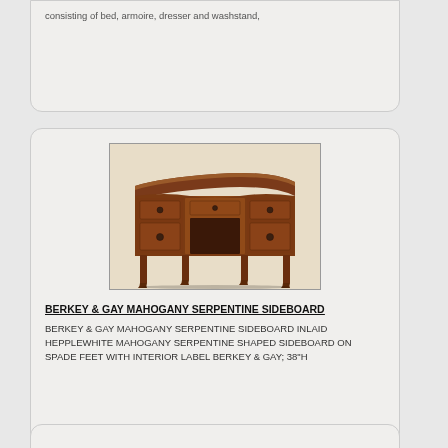consisting of bed, armoire, dresser and washstand,
[Figure (photo): Photograph of a Berkey & Gay mahogany serpentine sideboard with multiple drawers and tapered legs on spade feet.]
BERKEY & GAY MAHOGANY SERPENTINE SIDEBOARD
BERKEY & GAY MAHOGANY SERPENTINE SIDEBOARD INLAID HEPPLEWHITE MAHOGANY SERPENTINE SHAPED SIDEBOARD ON SPADE FEET WITH INTERIOR LABEL BERKEY & GAY; 38"H